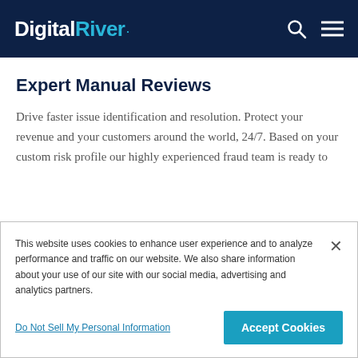Digital River
Expert Manual Reviews
Drive faster issue identification and resolution. Protect your revenue and your customers around the world, 24/7. Based on your custom risk profile our highly experienced fraud team is ready to
This website uses cookies to enhance user experience and to analyze performance and traffic on our website. We also share information about your use of our site with our social media, advertising and analytics partners.
Do Not Sell My Personal Information | Accept Cookies